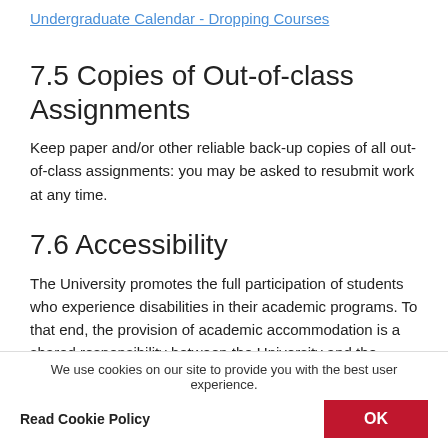Undergraduate Calendar - Dropping Courses
7.5 Copies of Out-of-class Assignments
Keep paper and/or other reliable back-up copies of all out-of-class assignments: you may be asked to resubmit work at any time.
7.6 Accessibility
The University promotes the full participation of students who experience disabilities in their academic programs. To that end, the provision of academic accommodation is a shared responsibility between the University and the student. When accommodations are needed, the student is required to first register with Student Accessibility Services (SAS). Documentation to substantiate the existence of a
We use cookies on our site to provide you with the best user experience. Read Cookie Policy OK